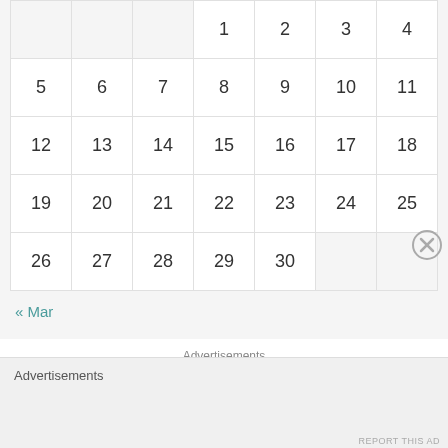|  |  |  | 1 | 2 | 3 | 4 |
| 5 | 6 | 7 | 8 | 9 | 10 | 11 |
| 12 | 13 | 14 | 15 | 16 | 17 | 18 |
| 19 | 20 | 21 | 22 | 23 | 24 | 25 |
| 26 | 27 | 28 | 29 | 30 |  |  |
« Mar
Advertisements
[Figure (logo): Parse.ly logo with green leaf icon and bold text 'Parse.ly']
[Figure (photo): Partially visible advertisement image, cropped at bottom]
Advertisements
REPORT THIS AD